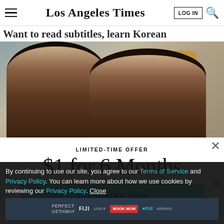Los Angeles Times | LOG IN | [search icon]
Want to read subtitles, learn Korean
[Figure (photo): Two young Asian people (a woman on the left and a man on the right) looking down, photographed in a kitchen with tiled walls and a warm lamp glow in the background.]
LIMITED-TIME OFFER
$1 for 6 Months
SUBSCRIBE NOW
By continuing to use our site, you agree to our Terms of Service and Privacy Policy. You can learn more about how we use cookies by reviewing our Privacy Policy. Close